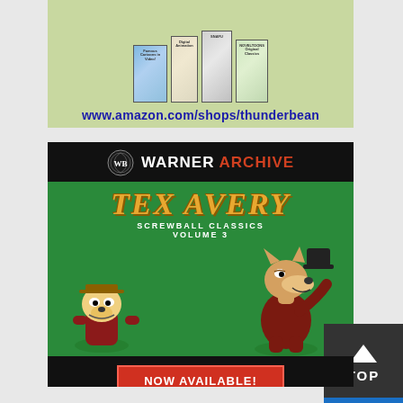[Figure (illustration): Thunderbean Animation advertisement showing DVD cases for cartoon collections above www.amazon.com/shops/thunderbean URL]
[Figure (illustration): Warner Archive advertisement for Tex Avery Screwball Classics Volume 3 with NOW AVAILABLE! button, featuring cartoon characters Droopy and a wolf on green background]